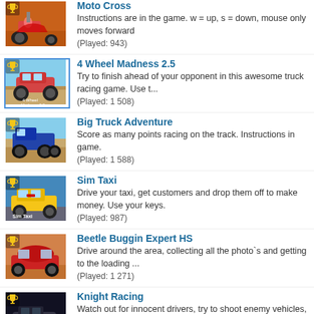Moto Cross
Instructions are in the game. w = up, s = down, mouse only moves forward
(Played: 943)
4 Wheel Madness 2.5
Try to finish ahead of your opponent in this awesome truck racing game. Use t...
(Played: 1 508)
Big Truck Adventure
Score as many points racing on the track. Instructions in game.
(Played: 1 588)
Sim Taxi
Drive your taxi, get customers and drop them off to make money. Use your keys.
(Played: 987)
Beetle Buggin Expert HS
Drive around the area, collecting all the photo`s and getting to the loading ...
(Played: 1 271)
Knight Racing
Watch out for innocent drivers, try to shoot enemy vehicles, WASD and spacebar.
(Played: 963)
Two Wheeler Trauma